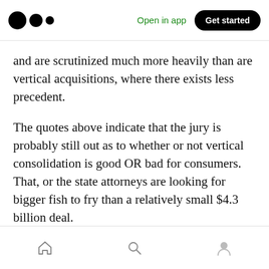Open in app | Get started
and are scrutinized much more heavily than are vertical acquisitions, where there exists less precedent.
The quotes above indicate that the jury is probably still out as to whether or not vertical consolidation is good OR bad for consumers. That, or the state attorneys are looking for bigger fish to fry than a relatively small $4.3 billion deal.
TL;DR — UnitedHealthcare is everywhere.